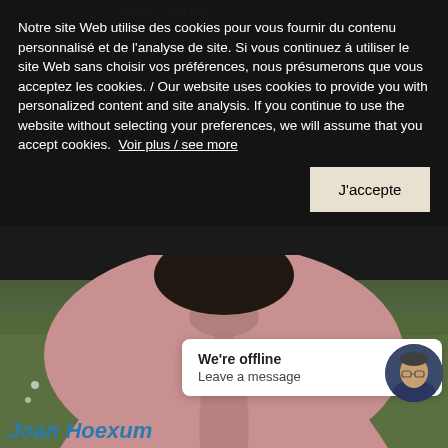[Figure (photo): Website screenshot showing a cookie consent overlay on top of a webpage. The background shows an outdoor photo of a person in a pink top in a green field. There is a chat widget showing 'We're offline / Leave a message' with an avatar photo of a man with glasses. At the bottom, the name 'Joan Hoexum' appears in blue text.]
Notre site Web utilise des cookies pour vous fournir du contenu personnalisé et de l'analyse de site. Si vous continuez à utiliser le site Web sans choisir vos préférences, nous présumerons que vous acceptez les cookies. / Our website uses cookies to provide you with personalized content and site analysis. If you continue to use the website without selecting your preferences, we will assume that you accept cookies. Voir plus / see more
J'accepte
We're offline
Leave a message
Joan Hoexum